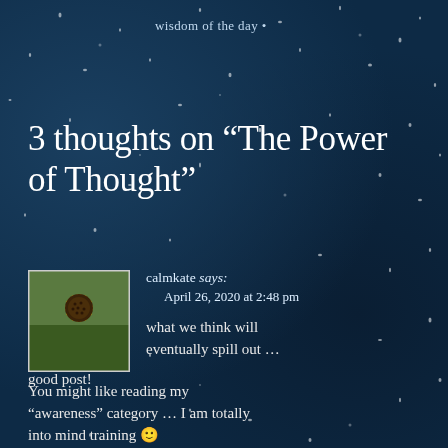wisdom of the day •
3 thoughts on “The Power of Thought”
[Figure (photo): A sunflower avatar image used as a comment profile picture]
calmkate says:
April 26, 2020 at 2:48 pm
what we think will eventually spill out … good post!
You might like reading my “awareness” category … I am totally into mind training 🙂